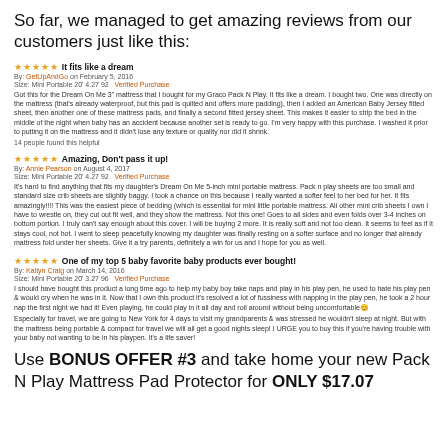So far, we managed to get amazing reviews from our customers just like this:
It fits like a dream - By: GetUpAndGo on February 5, 2016 - Size: Mini Portable 20' 4.27 92 - Verified Purchase - Got this for the Dream On Me 3" mattress that I bought for my Graco Pack N Play. It fits like a dream. I bought two. One was directly on the mattress (that's already waterproof, but this pad is quilted and offers more padding), then I added an American Baby Jersey fitted sheet, then another one of these mattress pads, and finally a second fitted jersey sheet. This makes it easier to strip the bed in the middle of the night when baby has an accident because another set is ready to go. I'm very happy with this purchase. I washed it prior to putting it on the mattress and it didn't lose any texture or quality nor did it shrink. - 14 people found this helpful
Amazing, Don't pass it up! - By: Annie Pearson on August 4, 2017 - Size: Mini Portable 20' 4.27 92 - Verified Purchase - It's hard to find anything that fits my daughter's Dream On Me 5-inch mini portable mattress. Pack n play sheets are too small and standard size crib sheets are slightly baggy. I took a chance on this because I really wanted a softer feel to her bed for her. It fits amazingly!!!! This was the easiest piece of bedding (which is essential for mini little portable mattress. All other mini crib sheets I own I have to wrestle on, they cut out fit well, and they show the mattress. Not this one! Goes to all sides and even folds over 3-4 inches on bottom portion. I truly can't say enough about this cover. I will be buying 2 more. It is really soft and not too clean. It seems to feel as if it stays cool, not hot. I went to sleep peacefully knowing my daughter was finally resting on a softer surface and no longer that already mattress fold under her sheets. Give it a try parents, definitely a win for us and I hope for you as well.
One of my top 5 baby favorite baby products ever bought! - By: Katlyn Craig on March 14, 2016 - Size: Mini Portable 20' 3.27 96 - Verified Purchase - I should have bought this product a long time ago to help my baby boy take naps and play in his play pen, he used to hate his play pen & would cry when he was in it. Now that I own this product it's resolved a lot of fussiness with napping in the play pen, he took a 2 hour nap the first night we had it! Even playing, he could play in it all day and roll around without being uncomfortable - Especially for travel, we are going to New York for 4 days to visit my grandparents & was stressed he wouldn't sleep at night. But with the mattress being portable & compact for travel we will all get a good nights sleep! I URGE you to buy this if you're having trouble with your baby not wanting to be in his playpen. It's a life saver!
Use BONUS OFFER #3 and take home your new Pack N Play Mattress Pad Protector for ONLY $17.07